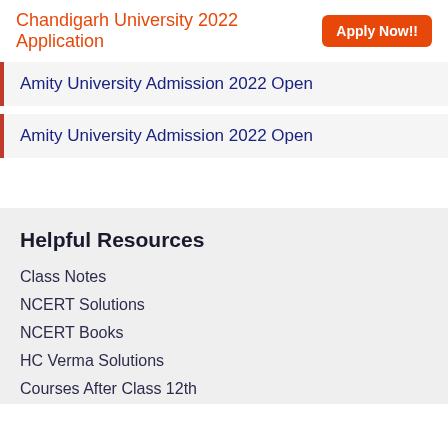Chandigarh University 2022 Application  Apply Now!!
Amity University Admission 2022 Open
Helpful Resources
Class Notes
NCERT Solutions
NCERT Books
HC Verma Solutions
Courses After Class 12th